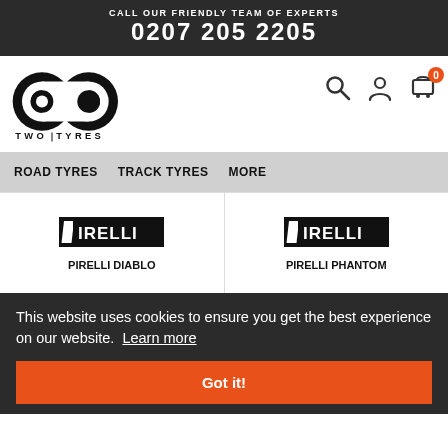CALL OUR FRIENDLY TEAM OF EXPERTS
0207 205 2205
[Figure (logo): Two Tyres logo — two concentric circle pairs forming infinity-like shape with text TWO TYRES below]
[Figure (infographic): Navigation icons: search magnifying glass, person/account, shopping cart with badge showing 0]
ROAD TYRES    TRACK TYRES    MORE
[Figure (logo): Pirelli logo (black wordmark with angled P)]
PIRELLI DIABLO
[Figure (logo): Pirelli logo (black wordmark with angled P)]
PIRELLI PHANTOM
This website uses cookies to ensure you get the best experience on our website.  Learn more
Got it!